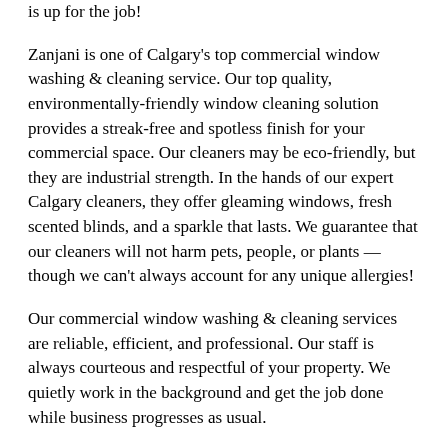is up for the job!
Zanjani is one of Calgary's top commercial window washing & cleaning service. Our top quality, environmentally-friendly window cleaning solution provides a streak-free and spotless finish for your commercial space. Our cleaners may be eco-friendly, but they are industrial strength. In the hands of our expert Calgary cleaners, they offer gleaming windows, fresh scented blinds, and a sparkle that lasts. We guarantee that our cleaners will not harm pets, people, or plants — though we can't always account for any unique allergies!
Our commercial window washing & cleaning services are reliable, efficient, and professional. Our staff is always courteous and respectful of your property. We quietly work in the background and get the job done while business progresses as usual.
Investing in a professional window cleaning service means having twinkling, bright windows whenever you want them. Zanjani Cleaning Services is well equipped to handle jobs of all sizes, so bring on your biggest, tallest windows. We'll make them shine in submission! During your consultation, we create a personalized plan unique to your business. Whether you need a team coming in once a